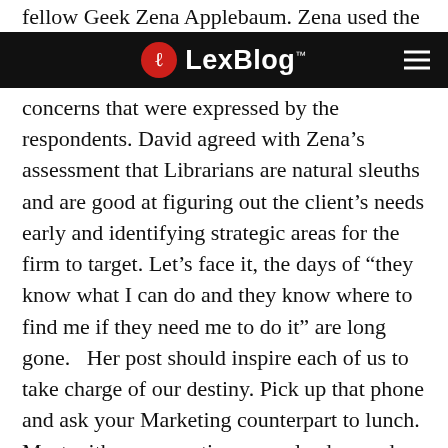fellow Geek Zena Applebaum. Zena used the survey to point out a path to address the
LexBlog™
concerns that were expressed by the respondents. David agreed with Zena’s assessment that Librarians are natural sleuths and are good at figuring out the client’s needs early and identifying strategic areas for the firm to target. Let’s face it, the days of “they know what I can do and they know where to find me if they need me to do it” are long gone.   Her post should inspire each of us to take charge of our destiny. Pick up that phone and ask your Marketing counterpart to lunch. Meet with your practice group leaders and